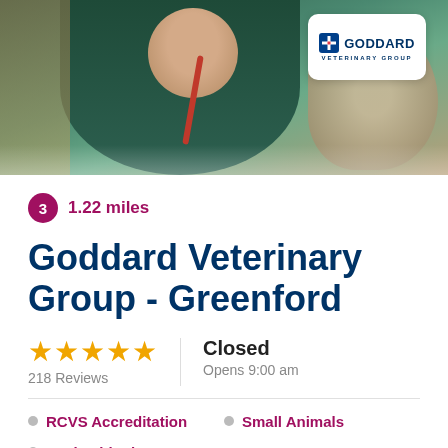[Figure (photo): Veterinarian in dark green scrubs holding a dog, with a red stethoscope. Goddard Veterinary Group logo in a white rounded box overlay in the top right corner.]
3  1.22 miles
Goddard Veterinary Group - Greenford
★★★★★  218 Reviews  |  Closed  Opens 9:00 am
RCVS Accreditation
Small Animals
Pet health plan
Call   Directions